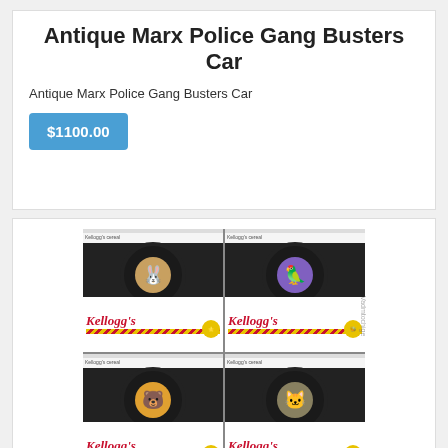Antique Marx Police Gang Busters Car
Antique Marx Police Gang Busters Car
$1100.00
[Figure (photo): Four Kellogg's branded collectible toy figure boxes arranged in a 2x2 grid. Each box features a dark starburst/circular window showing a small character figurine inside, with the Kellogg's logo and striped design at the bottom.]